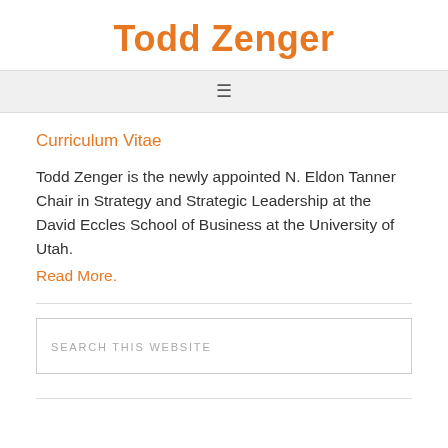Todd Zenger
Curriculum Vitae
Todd Zenger is the newly appointed N. Eldon Tanner Chair in Strategy and Strategic Leadership at the David Eccles School of Business at the University of Utah.
Read More.